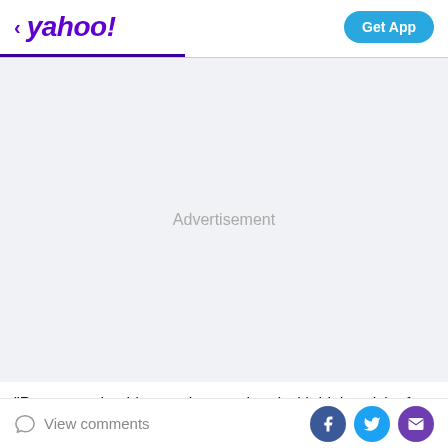< yahoo!  Get App
[Figure (other): Advertisement placeholder area with light gray background and centered 'Advertisement' text]
“Pregnancy in older age is associated with higher risk of
View comments  [Facebook share] [Twitter share] [Email share]